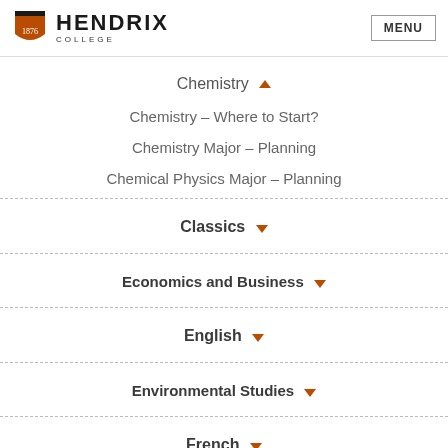Hendrix College — MENU
Chemistry ▲
Chemistry – Where to Start?
Chemistry Major – Planning
Chemical Physics Major – Planning
Classics ▼
Economics and Business ▼
English ▼
Environmental Studies ▼
French ▼
Health Sciences ▼